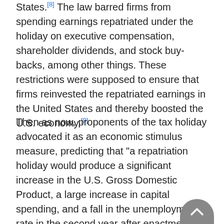States.[8] The law barred firms from spending earnings repatriated under the holiday on executive compensation, shareholder dividends, and stock buy-backs, among other things. These restrictions were supposed to ensure that firms reinvested the repatriated earnings in the United States and thereby boosted the U.S. economy.[9]
Then as now, proponents of the tax holiday advocated it as an economic stimulus measure, predicting that "a repatriation holiday would produce a significant increase in the U.S. Gross Domestic Product, a large increase in capital spending, and a fall in the unemployment rate in the second year after enactment."[10] There is no evidence, however, that the holiday had any of these effects. Moreover, there is strong evidence that the restrictions Congress imposed on the use of the repatriated earnings were ineffective.